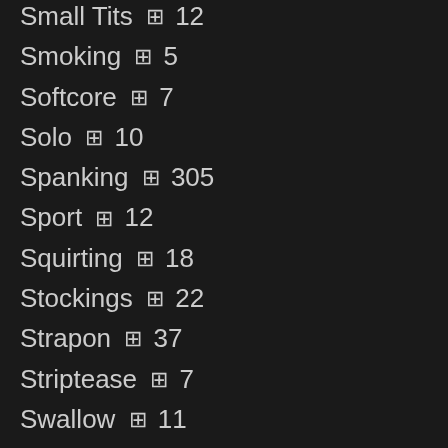Small Tits 🎞 12
Smoking 🎞 5
Softcore 🎞 7
Solo 🎞 10
Spanking 🎞 305
Sport 🎞 12
Squirting 🎞 18
Stockings 🎞 22
Strapon 🎞 37
Striptease 🎞 7
Swallow 🎞 11
Swingers 🎞 11
Tattoo 🎞 11
Teacher 🎞 14
Teen 🎞 33
Threesome 🎞 20
Titfuck 🎞 9